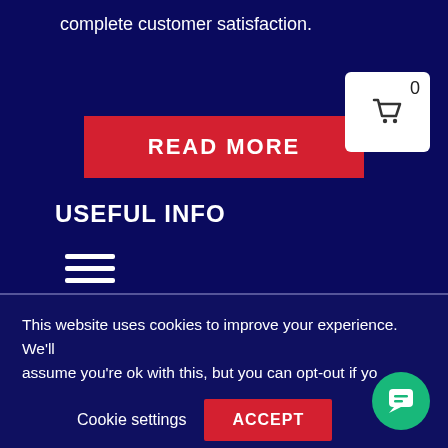complete customer satisfaction.
[Figure (other): Red READ MORE button]
[Figure (other): Shopping cart icon with count 0]
USEFUL INFO
[Figure (other): Hamburger menu icon (three horizontal lines)]
FOLLOW US ON
[Figure (other): Social media icons: Instagram (red), Facebook (blue), YouTube (red)]
This website uses cookies to improve your experience. We'll assume you're ok with this, but you can opt-out if yo
Cookie settings
ACCEPT